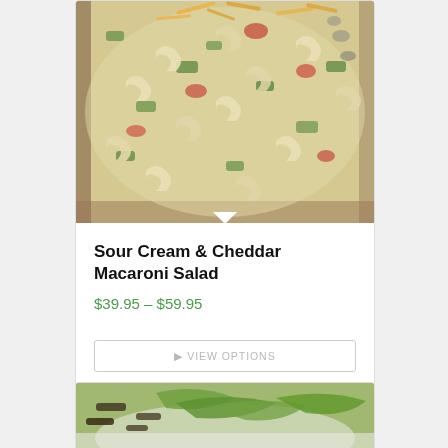[Figure (photo): Close-up photo of macaroni salad with green peppers, tomatoes, and shredded cheddar cheese in a bowl]
Sour Cream & Cheddar Macaroni Salad
$39.95 – $59.95
VIEW OPTIONS
[Figure (photo): Partial view of a salad with green lettuce and dark ingredients in a white bowl]